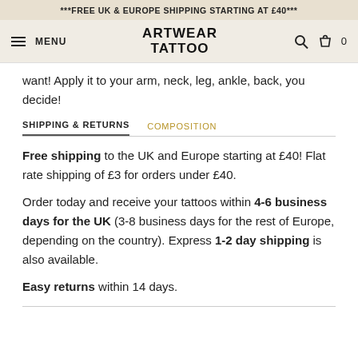***FREE UK & EUROPE SHIPPING STARTING AT £40***
[Figure (screenshot): Navigation bar with hamburger menu icon, MENU text, ARTWEAR TATTOO logo, search icon, bag icon and 0 count]
want! Apply it to your arm, neck, leg, ankle, back, you decide!
SHIPPING & RETURNS   COMPOSITION
Free shipping to the UK and Europe starting at £40! Flat rate shipping of £3 for orders under £40.
Order today and receive your tattoos within 4-6 business days for the UK (3-8 business days for the rest of Europe, depending on the country). Express 1-2 day shipping is also available.
Easy returns within 14 days.